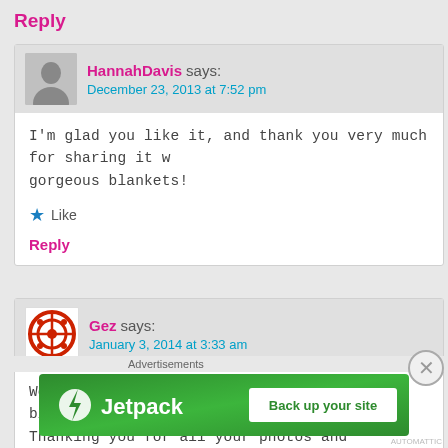Reply
HannahDavis says:
December 23, 2013 at 7:52 pm
I'm glad you like it, and thank you very much for sharing it w... gorgeous blankets!
Like
Reply
Gez says:
January 3, 2014 at 3:33 am
Wow, wow, wow I absolutely adore your blanket. This is one o... Thanking you for all your photos and instructions, I would lov...
Advertisements
[Figure (logo): Jetpack advertisement banner with green background, Jetpack logo and 'Back up your site' button]